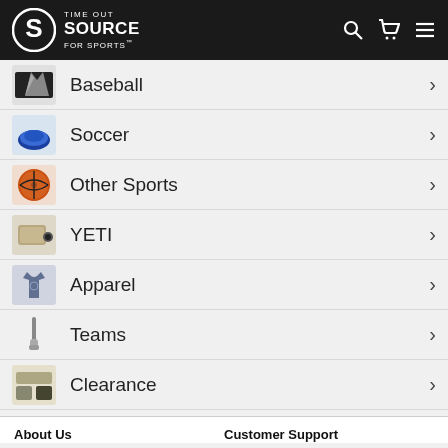Time Out Source For Sports
Baseball
Soccer
Other Sports
YETI
Apparel
Teams
Clearance
About Us   Customer Support